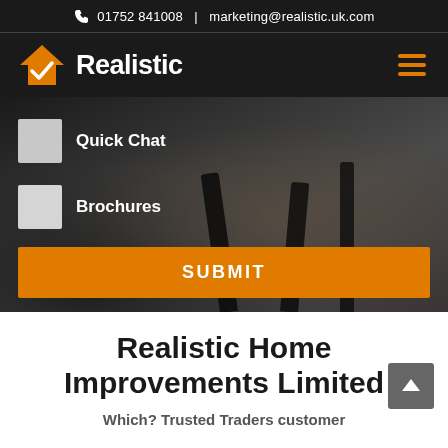📞 01752 841008  |  marketing@realistic.uk.com
[Figure (logo): Realistic logo: orange house with checkmark icon and white bold text 'Realistic' on dark background, with orange hamburger menu icon top right]
Quick Chat
Brochures
SUBMIT
Realistic Home Improvements Limited
Which? Trusted Traders customer